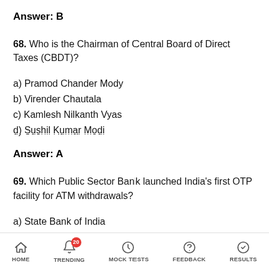Answer: B
68. Who is the Chairman of Central Board of Direct Taxes (CBDT)?
a) Pramod Chander Mody
b) Virender Chautala
c) Kamlesh Nilkanth Vyas
d) Sushil Kumar Modi
Answer: A
69. Which Public Sector Bank launched India's first OTP facility for ATM withdrawals?
a) State Bank of India
HOME | TRENDING | MOCK TESTS | FEEDBACK | RESULTS